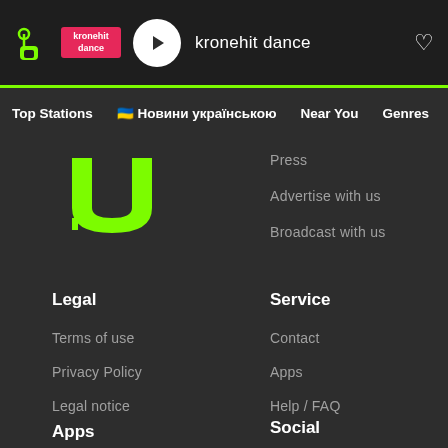kronehit dance — Top Stations | Новини українською | Near You | Genres
[Figure (screenshot): kronehit radio app UI with logo, pink badge, play button]
Press
Advertise with us
Broadcast with us
Legal
Service
Terms of use
Contact
Privacy Policy
Apps
Legal notice
Help / FAQ
Apps
Social
iPhone